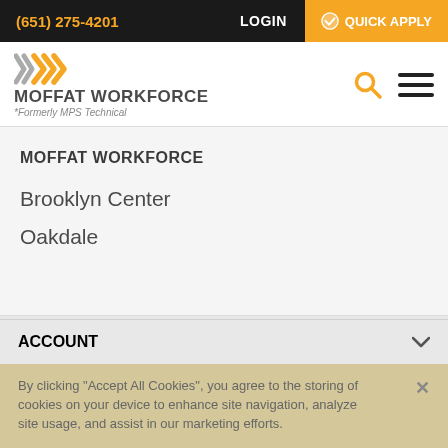(651) 275-4201  LOGIN  QUICK APPLY
[Figure (logo): Moffat Workforce logo with chevron arrows in yellow/grey and text 'MOFFAT WORKFORCE *Formerly MPS Technical']
MOFFAT WORKFORCE
Brooklyn Center
Oakdale
COMPANY
ACCOUNT
By clicking “Accept All Cookies”, you agree to the storing of cookies on your device to enhance site navigation, analyze site usage, and assist in our marketing efforts.